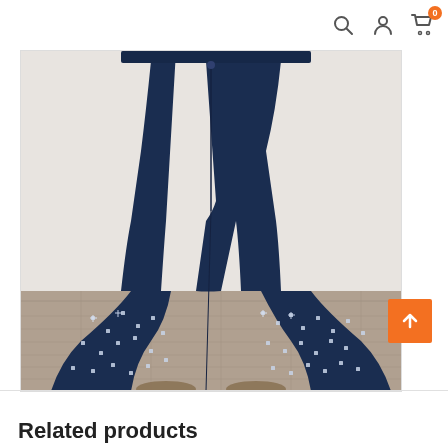Navigation header with search, user, and cart icons
[Figure (photo): Photo of a person from waist down wearing dark navy blue bell-bottom flare jeans with rhinestone/stud embellishments on the lower bell portion, standing in a room with a wood-look floor and light gray wall.]
Related products